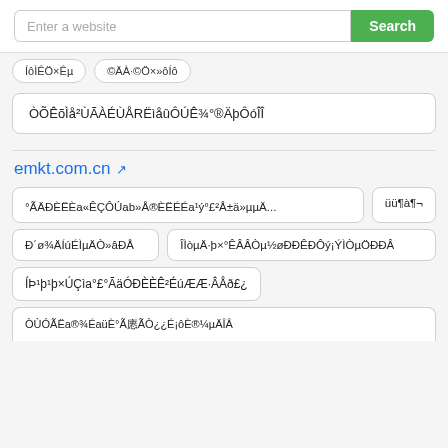Enter a website
Search
ÍôÌÊÖ×Êµ
©ÄÀ·©Ö×»ôÍô
ÒÕÊõÌå²ÙÃÀÉÙÅRËìåûÔÚÊ¾°®ÄþÔóÎÎ
emkt.com.cn
°ÃÄÐÈËÈa«ÊÇÔÚab»Å®ÈËÉÉa¹ý°£a²Å±ä»µµÄ...
üü¶à¶¬
Ð´ø¾ÄÍúÉÌµÄÒ»âÐÅ
ÎÌòµÄ·þ×°ÊÂÂÒµ½øÐÐÊÐÔý¡ÝÌÒµÖÐÐÂ
ÍÞ¹þ¹þ×ÚÇìa°£°ÃäÓÐÈÈÊ²ÉúÆÆ·ÂÅð£¿
ÒÙÓÃËa®¾ÉaüÈ°Ã㥷ÃÒ¿¿É¡ôÈ®¼µÄÎÂ